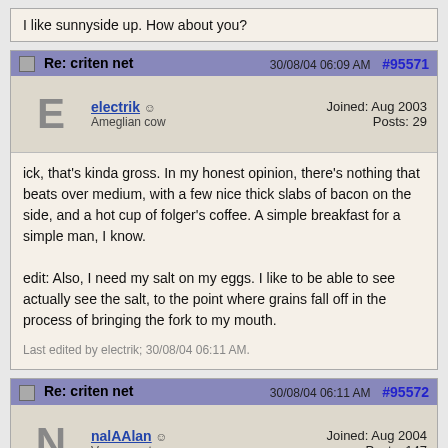I like sunnyside up. How about you?
Re: criten net   30/08/04 06:09 AM   #95571
electrik
Ameglian cow
Joined: Aug 2003
Posts: 29
ick, that's kinda gross. In my honest opinion, there's nothing that beats over medium, with a few nice thick slabs of bacon on the side, and a hot cup of folger's coffee. A simple breakfast for a simple man, I know.

edit: Also, I need my salt on my eggs. I like to be able to see actually see the salt, to the point where grains fall off in the process of bringing the fork to my mouth.
Last edited by electrik; 30/08/04 06:11 AM.
Re: criten net   30/08/04 06:11 AM   #95572
nalAAlan
Vogon poet
Joined: Aug 2004
Posts: 147
Don't get me started talking about bacon.